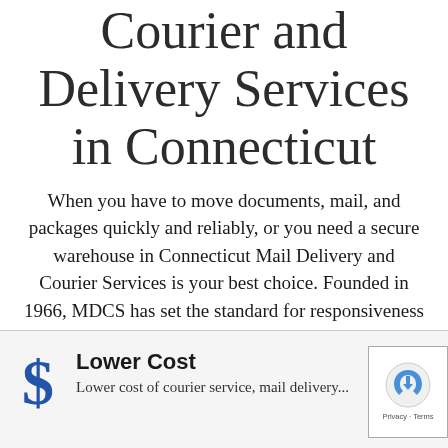Courier and Delivery Services in Connecticut
When you have to move documents, mail, and packages quickly and reliably, or you need a secure warehouse in Connecticut Mail Delivery and Courier Services is your best choice. Founded in 1966, MDCS has set the standard for responsiveness and dependability for thousands of customers.
Our Highlights
Lower Cost
Lower cost of courier service, mail delivery...